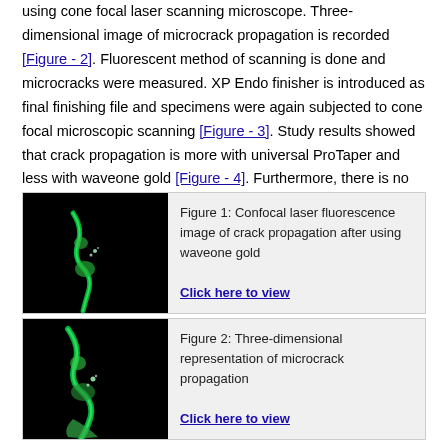using cone focal laser scanning microscope. Three-dimensional image of microcrack propagation is recorded [Figure - 2]. Fluorescent method of scanning is done and microcracks were measured. XP Endo finisher is introduced as final finishing file and specimens were again subjected to cone focal microscopic scanning [Figure - 3]. Study results showed that crack propagation is more with universal ProTaper and less with waveone gold [Figure - 4]. Furthermore, there is no significant crack propagation is noticed after final finishing with XP Endo finisher [Figure - 5].
[Figure (photo): Confocal laser fluorescence microscopy image of crack propagation showing green fluorescent crack on dark background, after using waveone gold]
Figure 1: Confocal laser fluorescence image of crack propagation after using waveone gold
[Figure (photo): Three-dimensional confocal laser fluorescence microscopy image showing microcrack propagation with green fluorescent crack on dark background]
Figure 2: Three-dimensional representation of microcrack propagation